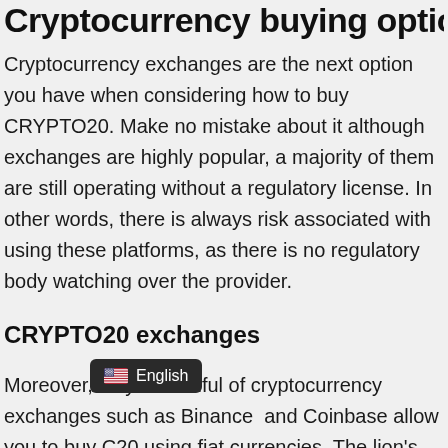Cryptocurrency buying options
Cryptocurrency exchanges are the next option you have when considering how to buy CRYPTO20. Make no mistake about it although exchanges are highly popular, a majority of them are still operating without a regulatory license. In other words, there is always risk associated with using these platforms, as there is no regulatory body watching over the provider.
CRYPTO20 exchanges
Moreover, only a handful of cryptocurrency exchanges such as Binance  and Coinbase allow you to buy C20 using fiat currencies. The lion's share of these platforms will only give you the option to swap another digital asset to buy C20. Above all, cryptocurrency exchanges are